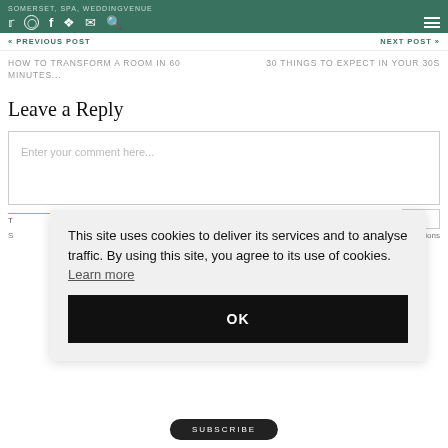SOMERSET, SPA, WEDDINGVENUE — social icons and navigation
« PREVIOUS POST    NEXT POST »
HOW TO TRANSFORM A ROOM IN 60 MINUTES...
30 THINGS TO EXPECT IN YOUR 30S
Leave a Reply
Enter your comment here...
This site uses cookies to deliver its services and to analyse traffic. By using this site, you agree to its use of cookies. Learn more
OK
SUBSCRIBE